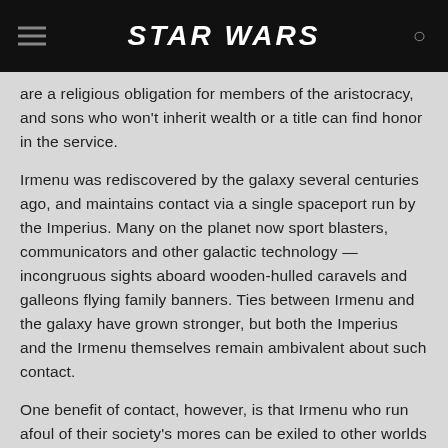STAR WARS
are a religious obligation for members of the aristocracy, and sons who won't inherit wealth or a title can find honor in the service.
Irmenu was rediscovered by the galaxy several centuries ago, and maintains contact via a single spaceport run by the Imperius. Many on the planet now sport blasters, communicators and other galactic technology — incongruous sights aboard wooden-hulled caravels and galleons flying family banners. Ties between Irmenu and the galaxy have grown stronger, but both the Imperius and the Irmenu themselves remain ambivalent about such contact.
One benefit of contact, however, is that Irmenu who run afoul of their society's mores can be exiled to other worlds instead of to inhospitable islands. Tales told by these exiles have made Irmenu an object of curiosity in the wider galaxy.
Notable Irmenu exiles include Walon Vau and Natasi Daala.